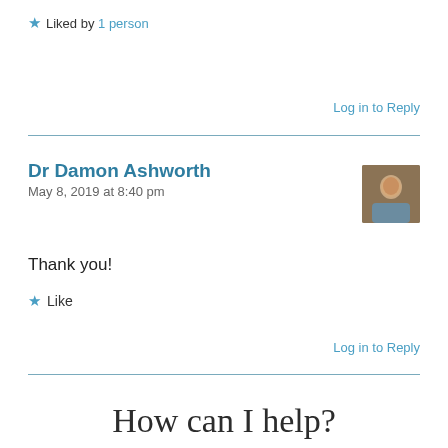★ Liked by 1 person
Log in to Reply
Dr Damon Ashworth
May 8, 2019 at 8:40 pm
Thank you!
★ Like
Log in to Reply
How can I help?